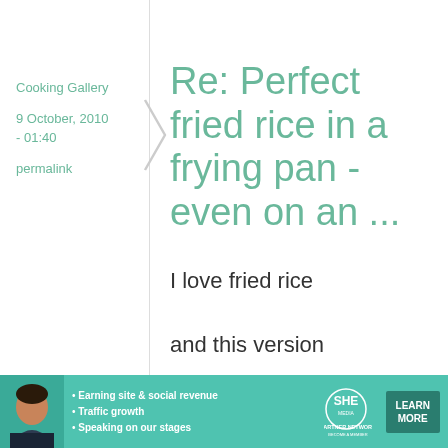Cooking Gallery
9 October, 2010 - 01:40
permalink
Re: Perfect fried rice in a frying pan - even on an ...
I love fried rice and this version looks totally delicious...! I have
[Figure (infographic): Advertisement banner for SHE Partner Network with photo of a woman, bullet points about earning site & social revenue, traffic growth, speaking on stages, and a Learn More button]